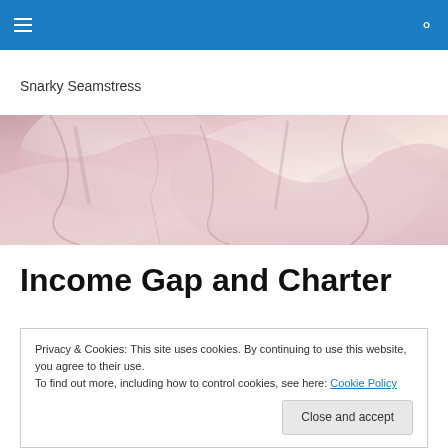Navigation bar with hamburger menu and search icon
Snarky Seamstress
[Figure (photo): Close-up photo of crumpled pink/mauve fabric with folds and texture]
Income Gap and Charter
Privacy & Cookies: This site uses cookies. By continuing to use this website, you agree to their use.
To find out more, including how to control cookies, see here: Cookie Policy
Close and accept